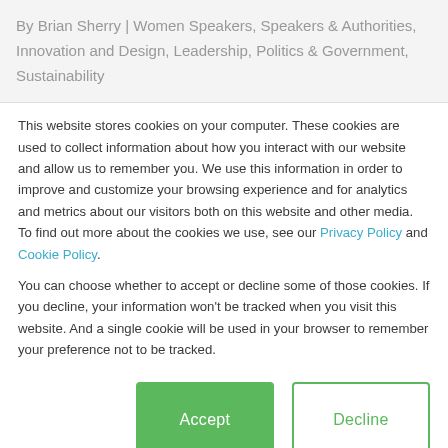By Brian Sherry | Women Speakers, Speakers & Authorities, Innovation and Design, Leadership, Politics & Government, Sustainability
This website stores cookies on your computer. These cookies are used to collect information about how you interact with our website and allow us to remember you. We use this information in order to improve and customize your browsing experience and for analytics and metrics about our visitors both on this website and other media. To find out more about the cookies we use, see our Privacy Policy and Cookie Policy.
You can choose whether to accept or decline some of those cookies. If you decline, your information won't be tracked when you visit this website. And a single cookie will be used in your browser to remember your preference not to be tracked.